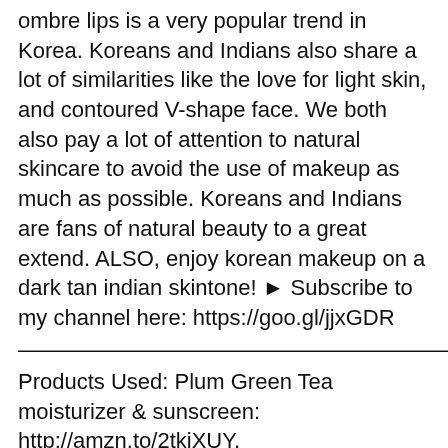ombre lips is a very popular trend in Korea. Koreans and Indians also share a lot of similarities like the love for light skin, and contoured V-shape face. We both also pay a lot of attention to natural skincare to avoid the use of makeup as much as possible. Koreans and Indians are fans of natural beauty to a great extend. ALSO, enjoy korean makeup on a dark tan indian skintone! ► Subscribe to my channel here: https://goo.gl/jjxGDR
——————————————————————————
Products Used: Plum Green Tea moisturizer & sunscreen: http://amzn.to/2tkiXUY, http://amzn.to/2smuCxl REVIEW: https://youtu.be/_a59eXwbo40 L A Girl HD Pro BB Cream, Medium: http://amzn.to/2tXlpNx SUGAR As Nude As It Gets SPF15 Compact, 03 Macchiato : http://amzn.to/2uixLAf L A Girl L A Girl HD Pro Face Pressed Powder, Classic Tan: http://amzn.to/2s1A4a8 NYX Micro Brow Pencil, Brunette: http://amzn.to/2smf4KD Labiotte Wine Eye Shadow Pallete: http://amzn.to/2t0NGn9 Lakme 9 To 5 Eye Color Quartet Eye Shadow: http://amzn.to/2tY3vve Plum Kajal: